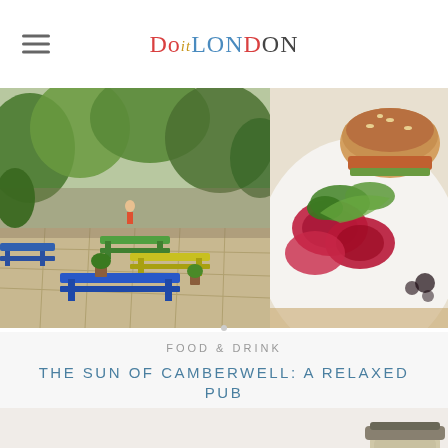DoitLONDON
[Figure (photo): Outdoor pub garden with colourful picnic benches (blue, green, yellow) surrounded by green trees and plants on a paved patio]
[Figure (photo): Close-up food photo showing a burger or sandwich with roasted beetroot and greens on a white plate with balsamic glaze]
FOOD & DRINK
THE SUN OF CAMBERWELL: A RELAXED PUB
[Figure (photo): Interior shot of pub with bowls of salad/food on a light background, with a large jar of pickled vegetables on the right]